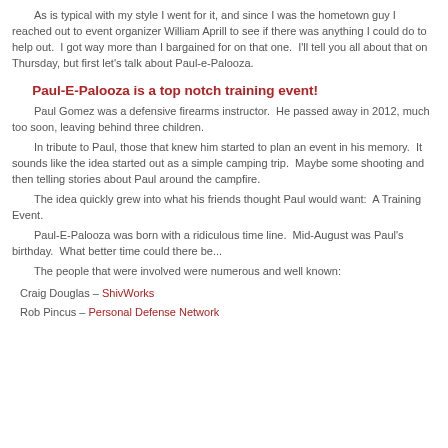As is typical with my style I went for it, and since I was the hometown guy I reached out to event organizer William Aprill to see if there was anything I could do to help out.  I got way more than I bargained for on that one.  I'll tell you all about that on Thursday, but first let's talk about Paul-e-Palooza.
Paul-E-Palooza is a top notch training event!
Paul Gomez was a defensive firearms instructor.  He passed away in 2012, much too soon, leaving behind three children.
In tribute to Paul, those that knew him started to plan an event in his memory.  It sounds like the idea started out as a simple camping trip.  Maybe some shooting and then telling stories about Paul around the campfire.
The idea quickly grew into what his friends thought Paul would want:  A Training Event.
Paul-E-Palooza was born with a ridiculous time line.  Mid-August was Paul's birthday.  What better time could there be...
The people that were involved were numerous and well known:
Craig Douglas – ShivWorks
Rob Pincus – Personal Defense Network